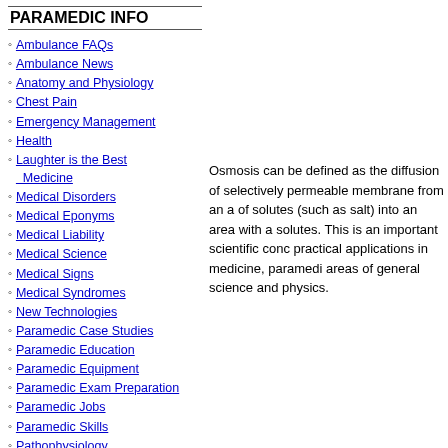PARAMEDIC INFO
Ambulance FAQs
Ambulance News
Anatomy and Physiology
Chest Pain
Emergency Management
Health
Laughter is the Best Medicine
Medical Disorders
Medical Eponyms
Medical Liability
Medical Science
Medical Signs
Medical Syndromes
New Technologies
Paramedic Case Studies
Paramedic Education
Paramedic Equipment
Paramedic Exam Preparation
Paramedic Jobs
Paramedic Skills
Pathophysiology
Patient Assessment
Real Paramedic Stories
Trauma Assessment
Osmosis can be defined as the diffusion of selectively permeable membrane from an area of solutes (such as salt) into an area with a solutes. This is an important scientific concept practical applications in medicine, paramedic areas of general science and physics.